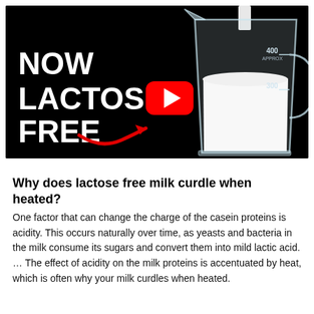[Figure (screenshot): YouTube video thumbnail showing text 'NOW LACTOSE FREE' in white bold letters on black background with a YouTube play button, a glass beaker filled with milk being poured into it showing '400 APPROX' and '300' measurement markings, and a red curved arrow pointing to the beaker.]
Why does lactose free milk curdle when heated?
One factor that can change the charge of the casein proteins is acidity. This occurs naturally over time, as yeasts and bacteria in the milk consume its sugars and convert them into mild lactic acid. … The effect of acidity on the milk proteins is accentuated by heat, which is often why your milk curdles when heated.